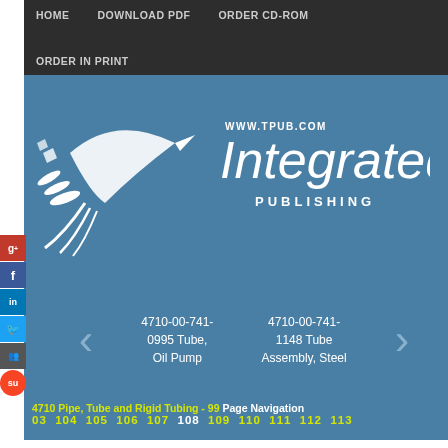HOME   DOWNLOAD PDF   ORDER CD-ROM   ORDER IN PRINT
[Figure (logo): Integrated Publishing logo with bird graphic and text 'WWW.TPUB.COM Integrated PUBLISHING']
4710-00-741-0995 Tube, Oil Pump
4710-00-741-1148 Tube Assembly, Steel
4710 Pipe, Tube and Rigid Tubing - 99 Page Navigation
03  104  105  106  107  108  109  110  111  112  113